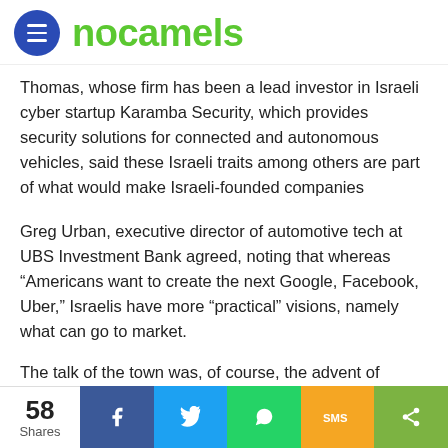[Figure (logo): NoCamels logo with blue circle menu icon and green text with camel in the 'o']
Thomas, whose firm has been a lead investor in Israeli cyber startup Karamba Security, which provides security solutions for connected and autonomous vehicles, said these Israeli traits among others are part of what would make Israeli-founded companies successful.
Greg Urban, executive director of automotive tech at UBS Investment Bank agreed, noting that whereas “Americans want to create the next Google, Facebook, Uber,” Israelis have more “practical” visions, namely what can go to market.
The talk of the town was, of course, the advent of autonomous vehicles and how it will transform the transportation industry.
58 Shares — Facebook, Twitter, WhatsApp, SMS, Share buttons